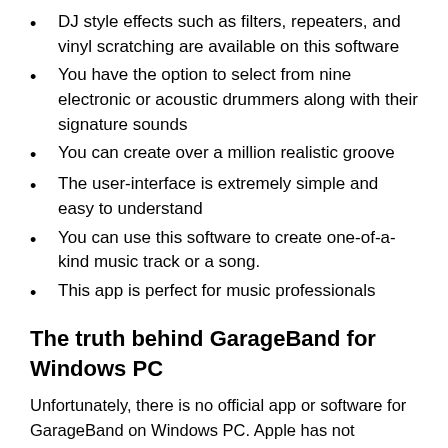DJ style effects such as filters, repeaters, and vinyl scratching are available on this software
You have the option to select from nine electronic or acoustic drummers along with their signature sounds
You can create over a million realistic groove
The user-interface is extremely simple and easy to understand
You can use this software to create one-of-a-kind music track or a song.
This app is perfect for music professionals
The truth behind GarageBand for Windows PC
Unfortunately, there is no official app or software for GarageBand on Windows PC. Apple has not released any version of it for platforms other than those based on iOS. You might be trying hard to